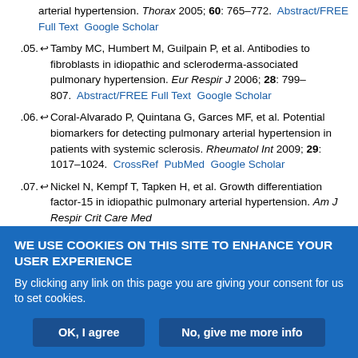arterial hypertension. Thorax 2005; 60: 765–772. Abstract/FREE Full Text Google Scholar
105. Tamby MC, Humbert M, Guilpain P, et al. Antibodies to fibroblasts in idiopathic and scleroderma-associated pulmonary hypertension. Eur Respir J 2006; 28: 799–807. Abstract/FREE Full Text Google Scholar
106. Coral-Alvarado P, Quintana G, Garces MF, et al. Potential biomarkers for detecting pulmonary arterial hypertension in patients with systemic sclerosis. Rheumatol Int 2009; 29: 1017–1024. CrossRef PubMed Google Scholar
107. Nickel N, Kempf T, Tapken H, et al. Growth differentiation factor-15 in idiopathic pulmonary arterial hypertension. Am J Respir Crit Care Med 2009; 178: 534–541. CrossRef PubMed Google Scholar
WE USE COOKIES ON THIS SITE TO ENHANCE YOUR USER EXPERIENCE
By clicking any link on this page you are giving your consent for us to set cookies.
OK, I agree | No, give me more info